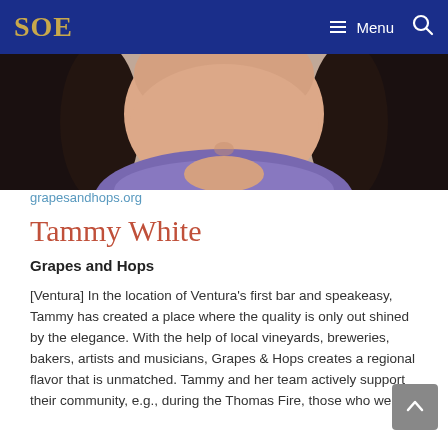SOE — Menu (navigation bar)
[Figure (photo): Close-up photo of a woman with dark hair and a purple/violet scarf or turtleneck, smiling, lower face and chin visible]
grapesandhops.org
Tammy White
Grapes and Hops
[Ventura] In the location of Ventura's first bar and speakeasy, Tammy has created a place where the quality is only out shined by the elegance. With the help of local vineyards, breweries, bakers, artists and musicians, Grapes & Hops creates a regional flavor that is unmatched. Tammy and her team actively support their community, e.g., during the Thomas Fire, those who were